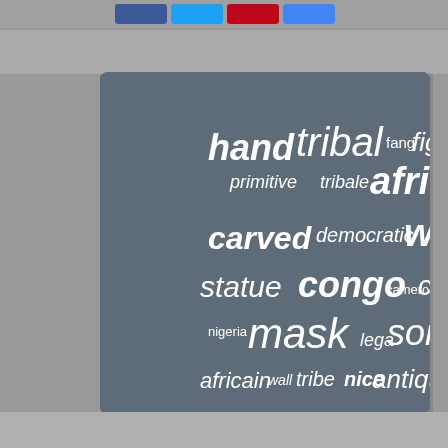[Figure (screenshot): Website screenshot showing a tag cloud of African art related keywords on a grey-blue rounded panel, with a search bar at the top. Words include hand, tribal, african, figure, fang, primitive, tribale, carved, democratic, wood, statue, congo, cameroon, coast, mask, lega, songye, nigeria, africain, wall, tribe, nice, antique, masks, luba, beautiful, vintage, gabon, republic, rare, africa, wooden, large, face, amazing.]